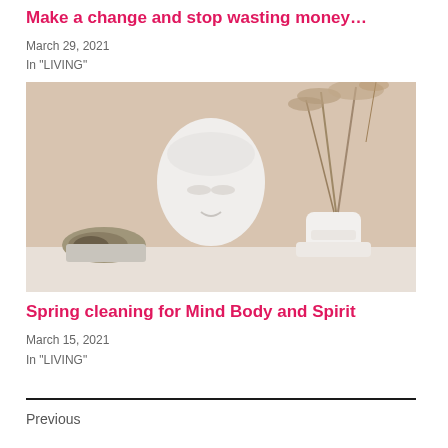Make a change and stop wasting money…
March 29, 2021
In "LIVING"
[Figure (photo): Decorative home items: a white Buddha head sculpture, a white textured vase with dried pampas grass, and a seashell on a marble surface against a warm beige background.]
Spring cleaning for Mind Body and Spirit
March 15, 2021
In "LIVING"
Previous